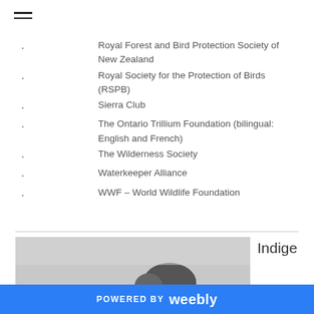Royal Forest and Bird Protection Society of New Zealand
Royal Society for the Protection of Birds (RSPB)
Sierra Club
The Ontario Trillium Foundation (bilingual: English and French)
The Wilderness Society
Waterkeeper Alliance
WWF – World Wildlife Foundation
[Figure (photo): Partial photo of a dark-colored animal, partially visible at bottom of page]
Indige
POWERED BY weebly